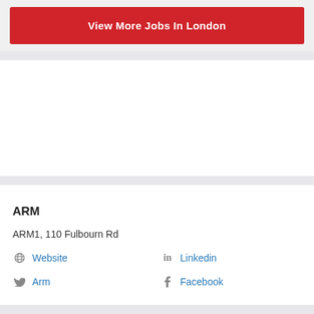View More Jobs In London
ARM
ARM1, 110 Fulbourn Rd
Website
Linkedin
Arm
Facebook